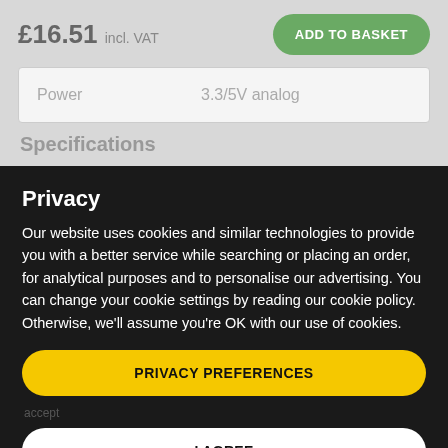£16.51 incl. VAT
ADD TO BASKET
| Power | 3.3/5V analog |
Specifications
Privacy
Our website uses cookies and similar technologies to provide you with a better service while searching or placing an order, for analytical purposes and to personalise our advertising. You can change your cookie settings by reading our cookie policy. Otherwise, we'll assume you're OK with our use of cookies.
PRIVACY PREFERENCES
I AGREE